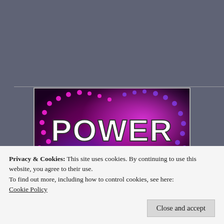(To read about Jon’s mega-collection,
Power Outside The Matrix, click here.)
[Figure (illustration): Promotional image for 'Power Outside The Matrix' — bold white text on a purple/magenta glowing orb background with colorful dot-matrix pattern.]
Privacy & Cookies: This site uses cookies. By continuing to use this website, you agree to their use.
To find out more, including how to control cookies, see here: Cookie Policy
Close and accept